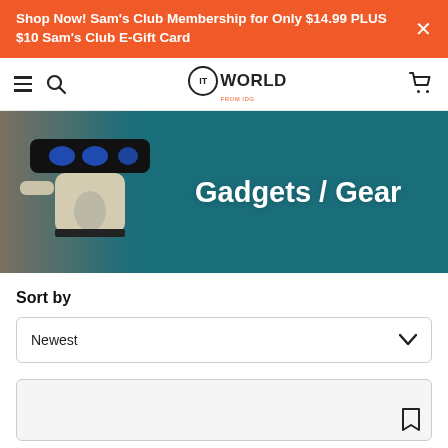Shop Now! Sam's Club Membership for Only $14.99 PLUS $10 Sam's Club E-Gift Card
[Figure (screenshot): ITWorld website navigation bar with hamburger menu, search icon, ITWorld logo, and cart icon]
[Figure (photo): Hero banner image with a robot figure on the left and teal background, overlaid with white bold text 'Gadgets / Gear']
Sort by
Newest
[Figure (screenshot): Partially visible article card stub with bookmark icon in lower right]